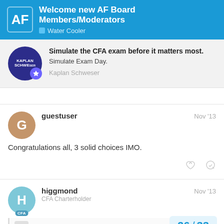Welcome new AF Board Members/Moderators | Water Cooler
[Figure (logo): Kaplan Schweser advertisement: 'Simulate the CFA exam before it matters most. Simulate Exam Day.' with Kaplan Schweser logo]
Congratulations all, 3 solid choices IMO.
guestuser Nov '13
higgmond CFA Charterholder Nov '13
26 / 33